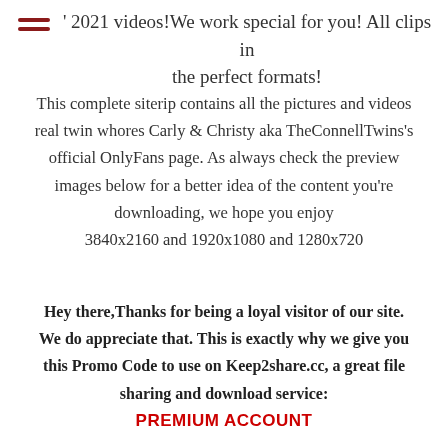2021 videos!We work special for you! All clips in the perfect formats!
This complete siterip contains all the pictures and videos real twin whores Carly & Christy aka TheConnellTwins's official OnlyFans page. As always check the preview images below for a better idea of the content you're downloading, we hope you enjoy 3840x2160 and 1920x1080 and 1280x720
Hey there,Thanks for being a loyal visitor of our site. We do appreciate that. This is exactly why we give you this Promo Code to use on Keep2share.cc, a great file sharing and download service: PREMIUM ACCOUNT